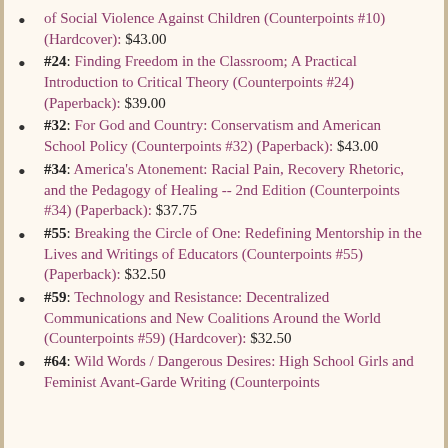of Social Violence Against Children (Counterpoints #10) (Hardcover): $43.00
#24: Finding Freedom in the Classroom; A Practical Introduction to Critical Theory (Counterpoints #24) (Paperback): $39.00
#32: For God and Country: Conservatism and American School Policy (Counterpoints #32) (Paperback): $43.00
#34: America's Atonement: Racial Pain, Recovery Rhetoric, and the Pedagogy of Healing -- 2nd Edition (Counterpoints #34) (Paperback): $37.75
#55: Breaking the Circle of One: Redefining Mentorship in the Lives and Writings of Educators (Counterpoints #55) (Paperback): $32.50
#59: Technology and Resistance: Decentralized Communications and New Coalitions Around the World (Counterpoints #59) (Hardcover): $32.50
#64: Wild Words / Dangerous Desires: High School Girls and Feminist Avant-Garde Writing (Counterpoints